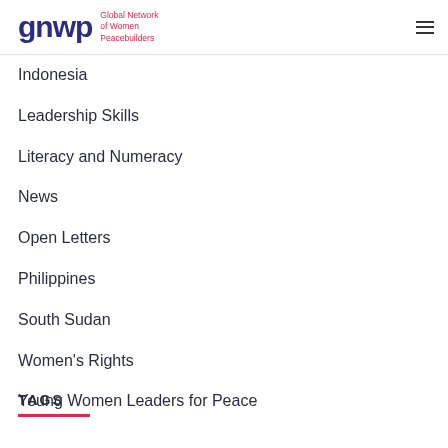gnwp Global Network of Women Peacebuilders
Indonesia
Leadership Skills
Literacy and Numeracy
News
Open Letters
Philippines
South Sudan
Women's Rights
Young Women Leaders for Peace
TAGS